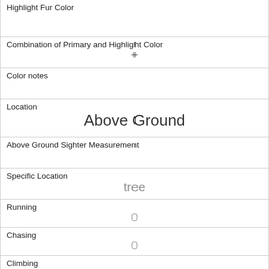Highlight Fur Color
Combination of Primary and Highlight Color
+
Color notes
Location
Above Ground
Above Ground Sighter Measurement
Specific Location
tree
Running
0
Chasing
0
Climbing
0
Eating
0